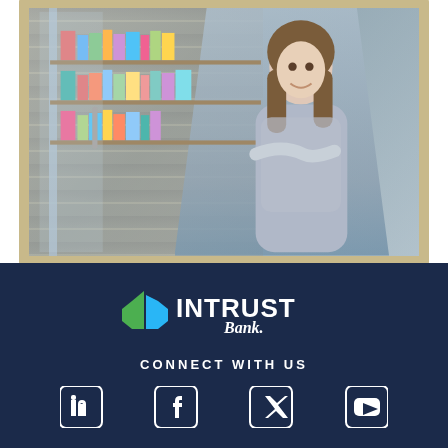[Figure (photo): A smiling woman with crossed arms standing in the doorway of a bookstore or retail shop, with shelves of books/products visible behind her. The photo is framed with a tan/gold border.]
[Figure (logo): INTRUST Bank logo with green and blue stylized 'i' arrow icon and white text 'INTRUST Bank.' on a dark navy blue background.]
CONNECT WITH US
[Figure (other): Social media icons row: LinkedIn, Facebook, Twitter/X, YouTube — white icons on dark navy background.]